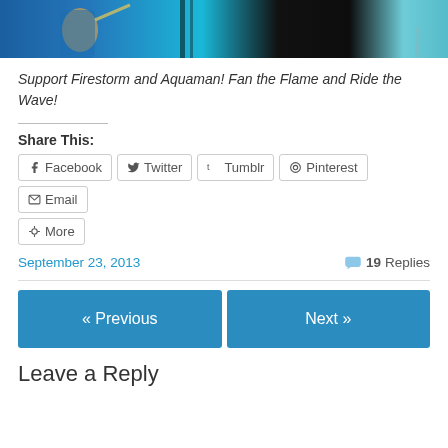[Figure (illustration): Comic book artwork showing Firestorm and Aquaman characters with blue, teal, and black colors. DC Comics watermark visible.]
Support Firestorm and Aquaman! Fan the Flame and Ride the Wave!
Share This:
Facebook  Twitter  Tumblr  Pinterest  Email  More
September 23, 2013    19 Replies
« Previous    Next »
Leave a Reply